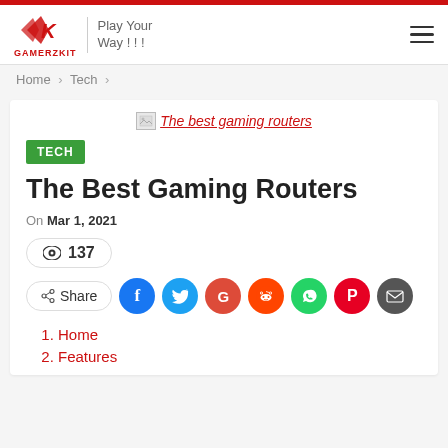GAMERZKIT — Play Your Way !!!
Home > Tech >
[Figure (illustration): Broken image placeholder with alt text 'The best gaming routers' in red italic text]
TECH
The Best Gaming Routers
On Mar 1, 2021
👁 137
Share [Social icons: Facebook, Twitter, Google, Reddit, WhatsApp, Pinterest, Email]
1. Home
2. Features